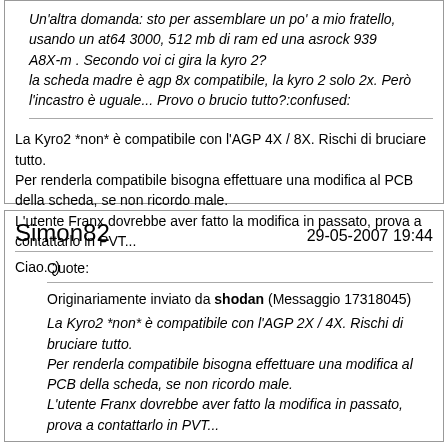Un'altra domanda: sto per assemblare un po' a mio fratello, usando un at64 3000, 512 mb di ram ed una asrock 939 A8X-m . Secondo voi ci gira la kyro 2? la scheda madre è agp 8x compatibile, la kyro 2 solo 2x. Però l'incastro è uguale... Provo o brucio tutto?:confused:
La Kyro2 *non* è compatibile con l'AGP 4X / 8X. Rischi di bruciare tutto.
Per renderla compatibile bisogna effettuare una modifica al PCB della scheda, se non ricordo male.
L'utente Franx dovrebbe aver fatto la modifica in passato, prova a contattarlo in PVT...

Ciao. :)
Simon82 — 29-05-2007 19:44
Quote: Originariamente inviato da shodan (Messaggio 17318045) La Kyro2 *non* è compatibile con l'AGP 2X / 4X. Rischi di bruciare tutto. Per renderla compatibile bisogna effettuare una modifica al PCB della scheda, se non ricordo male. L'utente Franx dovrebbe aver fatto la modifica in passato, prova a contattarlo in PVT...